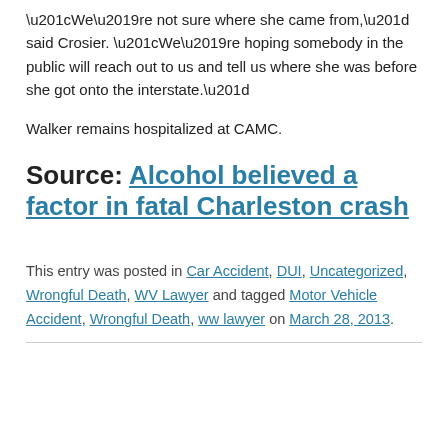“We’re not sure where she came from,” said Crosier. “We’re hoping somebody in the public will reach out to us and tell us where she was before she got onto the interstate.”
Walker remains hospitalized at CAMC.
Source: Alcohol believed a factor in fatal Charleston crash
This entry was posted in Car Accident, DUI, Uncategorized, Wrongful Death, WV Lawyer and tagged Motor Vehicle Accident, Wrongful Death, ww lawyer on March 28, 2013.